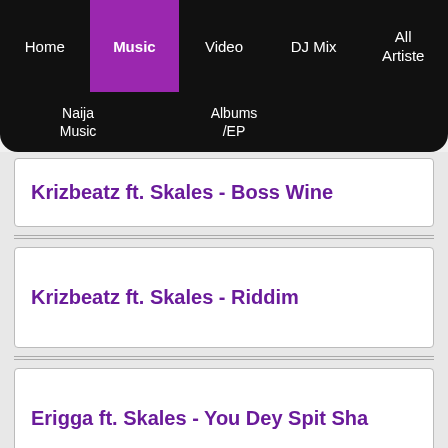Home | Music | Video | DJ Mix | All Artiste | Naija Music | Albums /EP
Krizbeatz ft. Skales - Boss Wine
Krizbeatz ft. Skales - Riddim
Erigga ft. Skales - You Dey Spit Sha